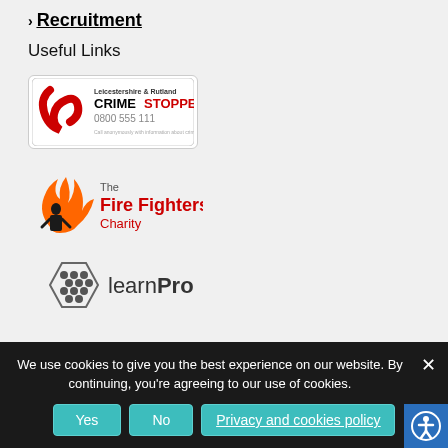Recruitment
Useful Links
[Figure (logo): Leicestershire & Rutland Crimestoppers logo with phone number 0800 555 111]
[Figure (logo): The Fire Fighters Charity logo with flame and firefighter silhouette]
[Figure (logo): learnPro logo with hexagonal honeycomb icon]
We use cookies to give you the best experience on our website. By continuing, you're agreeing to our use of cookies.
Yes | No | Privacy and cookies policy